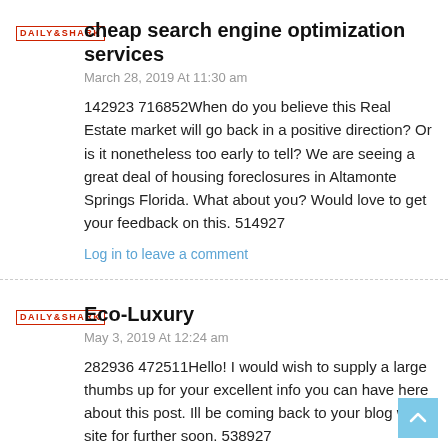cheap search engine optimization services
March 28, 2019 At 11:30 am
142923 716852When do you believe this Real Estate market will go back in a positive direction? Or is it nonetheless too early to tell? We are seeing a great deal of housing foreclosures in Altamonte Springs Florida. What about you? Would love to get your feedback on this. 514927
Log in to leave a comment
Eco-Luxury
May 3, 2019 At 12:24 am
282936 472511Hello! I would wish to supply a large thumbs up for your excellent info you can have here about this post. Ill be coming back to your blog web site for further soon. 538927
Log in to leave a comment